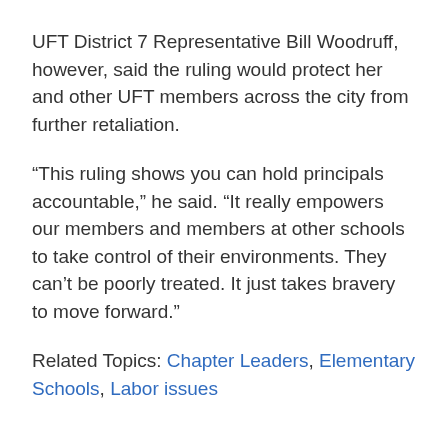UFT District 7 Representative Bill Woodruff, however, said the ruling would protect her and other UFT members across the city from further retaliation.
“This ruling shows you can hold principals accountable,” he said. “It really empowers our members and members at other schools to take control of their environments. They can’t be poorly treated. It just takes bravery to move forward.”
Related Topics: Chapter Leaders, Elementary Schools, Labor issues